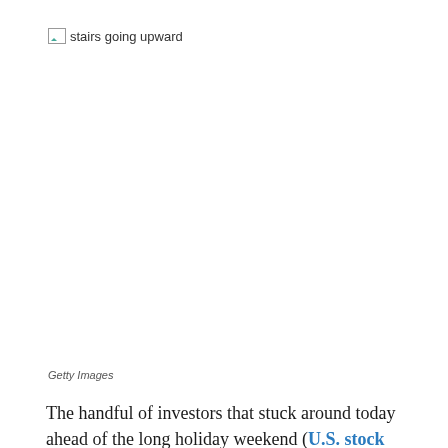[Figure (photo): Broken image placeholder showing 'stairs going upward' with a small broken image icon]
Getty Images
The handful of investors that stuck around today ahead of the long holiday weekend (U.S. stock markets will be closed Monday for Memorial Day) weren't fazed by the latest sign of rising inflation.
"The Fed's favorite inflation indicator – the core